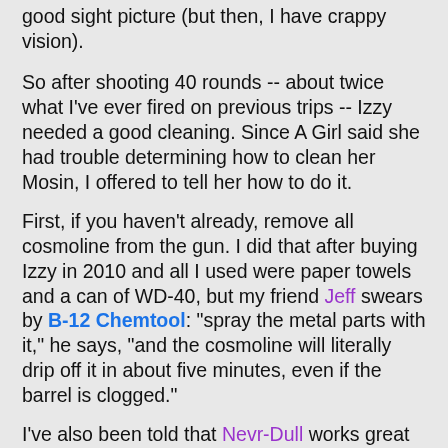good sight picture (but then, I have crappy vision).
So after shooting 40 rounds -- about twice what I've ever fired on previous trips -- Izzy needed a good cleaning. Since A Girl said she had trouble determining how to clean her Mosin, I offered to tell her how to do it.
First, if you haven't already, remove all cosmoline from the gun. I did that after buying Izzy in 2010 and all I used were paper towels and a can of WD-40, but my friend Jeff swears by B-12 Chemtool: "spray the metal parts with it," he says, "and the cosmoline will literally drip off it in about five minutes, even if the barrel is clogged."
I've also been told that Nevr-Dull works great to give your barrel a mirror shine. Pinch off a wad of it, and ram it down the bore like it was a cleaning patch. If it comes out a blueish-gray, you're good; that's just the natural color of the polishing agent within the cotton. But if it comes out tar-black, you still have cosmoline or carbon buildup. Alternate swabs of Nevr-Dull and clean patches until it stops coming out black. I am assured that residual cosmoline within the